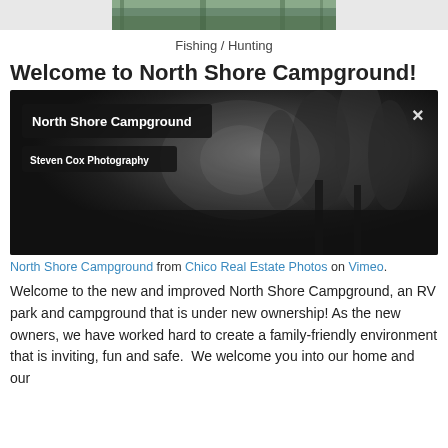[Figure (photo): Top portion of a fishing/hunting scene showing water reflections and trees]
Fishing / Hunting
Welcome to North Shore Campground!
[Figure (screenshot): Vimeo video player showing a dark forest/campground scene. Overlay shows title 'North Shore Campground' and subtitle 'Steven Cox Photography' with a close (X) button.]
North Shore Campground from Chico Real Estate Photos on Vimeo.
Welcome to the new and improved North Shore Campground, an RV park and campground that is under new ownership! As the new owners, we have worked hard to create a family-friendly environment that is inviting, fun and safe.  We welcome you into our home and our